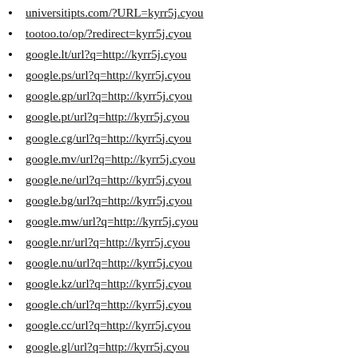universitipts.com/?URL=kyrr5j.cyou
tootoo.to/op/?redirect=kyrr5j.cyou
google.lt/url?q=http://kyrr5j.cyou
google.ps/url?q=http://kyrr5j.cyou
google.gp/url?q=http://kyrr5j.cyou
google.pt/url?q=http://kyrr5j.cyou
google.cg/url?q=http://kyrr5j.cyou
google.mv/url?q=http://kyrr5j.cyou
google.ne/url?q=http://kyrr5j.cyou
google.bg/url?q=http://kyrr5j.cyou
google.mw/url?q=http://kyrr5j.cyou
google.nr/url?q=http://kyrr5j.cyou
google.nu/url?q=http://kyrr5j.cyou
google.kz/url?q=http://kyrr5j.cyou
google.ch/url?q=http://kyrr5j.cyou
google.cc/url?q=http://kyrr5j.cyou
google.gl/url?q=http://kyrr5j.cyou
google.si/url?q=http://kyrr5j.cyou
google.by/url?q=http://kyrr5j.cyou